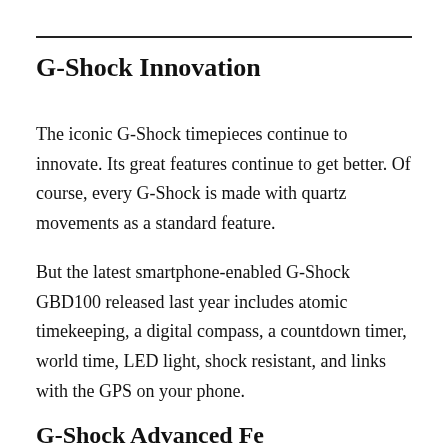G-Shock Innovation
The iconic G-Shock timepieces continue to innovate. Its great features continue to get better. Of course, every G-Shock is made with quartz movements as a standard feature.
But the latest smartphone-enabled G-Shock GBD100 released last year includes atomic timekeeping, a digital compass, a countdown timer, world time, LED light, shock resistant, and links with the GPS on your phone.
G-Shock Advanced Fe...